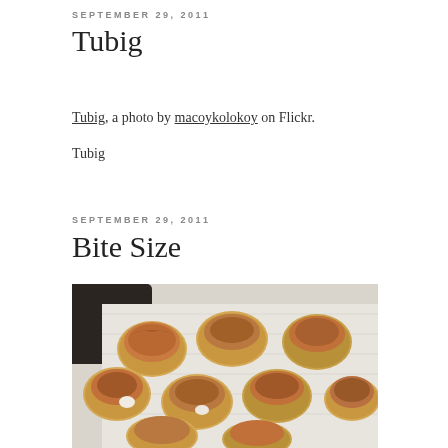SEPTEMBER 29, 2011
Tubig
Tubig, a photo by macoykolokoy on Flickr.
Tubig
SEPTEMBER 29, 2011
Bite Size
[Figure (photo): Photo of bite-sized crackers topped with tuna or meat salad mixture arranged on a white surface]